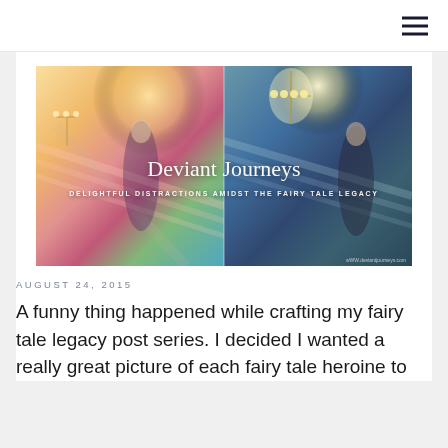[Figure (photo): Blog header image collage showing two side-by-side photos of a young woman in a ball gown on a grand staircase. Left photo has warm pink/yellow tones, right has cool teal/blue tones. Overlaid text reads 'Deviant Journeys' and 'DELIGHTFUL DISTRACTIONS AMIDST THE FAIRY TALE LEGACY'. Small watermark in bottom right.]
AUGUST 24, 2015
A funny thing happened while crafting my fairy tale legacy post series. I decided I wanted a really great picture of each fairy tale heroine to